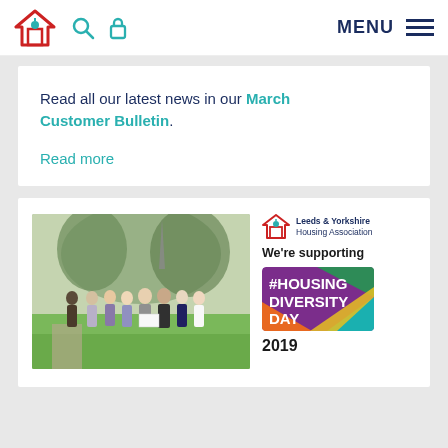Leeds & Yorkshire Housing Association website header with logo, search, lock icons, and MENU
Read all our latest news in our March Customer Bulletin.
Read more
[Figure (photo): Group of eight people standing together outdoors on a garden path with trees and lawn in the background]
[Figure (logo): Leeds & Yorkshire Housing Association logo with house icon and text, 'We're supporting #HOUSING DIVERSITY DAY 2019' badge]